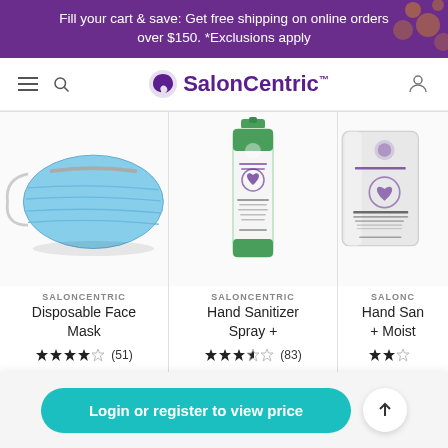Fill your cart & save: Get free shipping on online orders over $150. *Exclusions apply
[Figure (logo): SalonCentric logo with purple swirl icon]
[Figure (photo): Blue disposable face mask product image]
SALONCENTRIC
Disposable Face Mask
★★★★☆ (51)
[Figure (photo): SalonCentric Hand Sanitizer Spray + product bottle]
SALONCENTRIC
Hand Sanitizer Spray +
★★★★☆ (83)
[Figure (photo): SalonCentric Hand San + Moist product (partially visible)]
SALONC
Hand San + Moist
★★☆☆☆
Login or register to view price